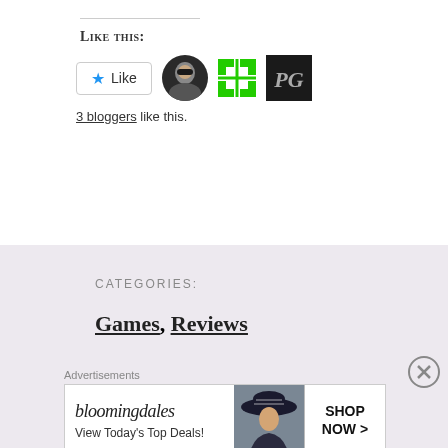Like This:
[Figure (screenshot): Like button with blue star and three blogger avatars]
3 bloggers like this.
CATEGORIES:
Games, Reviews
Advertisements
[Figure (other): Bloomingdale's advertisement banner: bloomingdales logo, View Today's Top Deals!, woman with hat, SHOP NOW >]